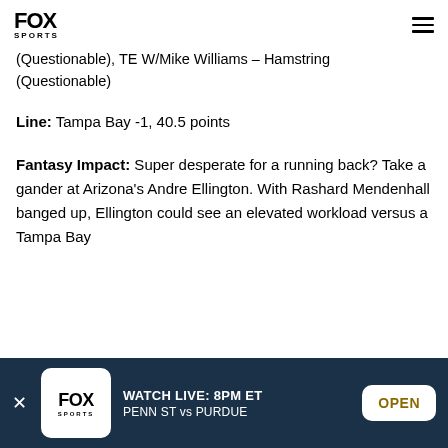FOX SPORTS
(Questionable), TE W/Mike Williams - Hamstring (Questionable)
Line: Tampa Bay -1, 40.5 points
Fantasy Impact: Super desperate for a running back? Take a gander at Arizona's Andre Ellington. With Rashard Mendenhall banged up, Ellington could see an elevated workload versus a Tampa Bay
WATCH LIVE: 8PM ET PENN ST vs PURDUE OPEN